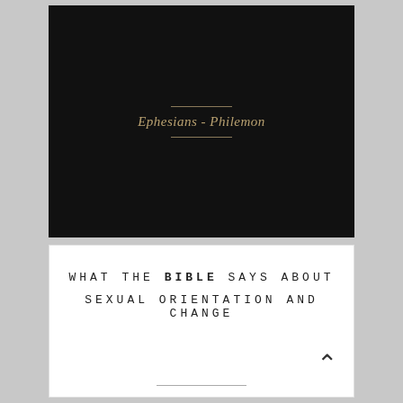[Figure (illustration): Black book cover with gold horizontal lines above and below italic text reading 'Ephesians - Philemon']
Ephesians - Philemon
[Figure (illustration): White book cover with monospaced uppercase text: 'WHAT THE BIBLE SAYS ABOUT SEXUAL ORIENTATION AND CHANGE' with an upward caret/arrow symbol at bottom right]
WHAT THE BIBLE SAYS ABOUT SEXUAL ORIENTATION AND CHANGE